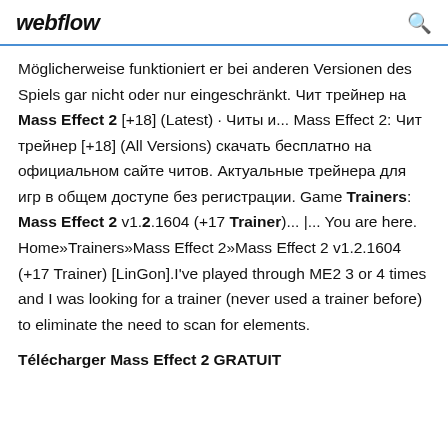webflow
Möglicherweise funktioniert er bei anderen Versionen des Spiels gar nicht oder nur eingeschränkt. Чит трейнер на Mass Effect 2 [+18] (Latest) · Читы и... Mass Effect 2: Чит трейнер [+18] (All Versions) скачать бесплатно на официальном сайте читов. Актуальные трейнера для игр в общем доступе без регистрации. Game Trainers: Mass Effect 2 v1.2.1604 (+17 Trainer)... |... You are here. Home»Trainers»Mass Effect 2»Mass Effect 2 v1.2.1604 (+17 Trainer) [LinGon].I've played through ME2 3 or 4 times and I was looking for a trainer (never used a trainer before) to eliminate the need to scan for elements.
Télécharger Mass Effect 2 GRATUIT